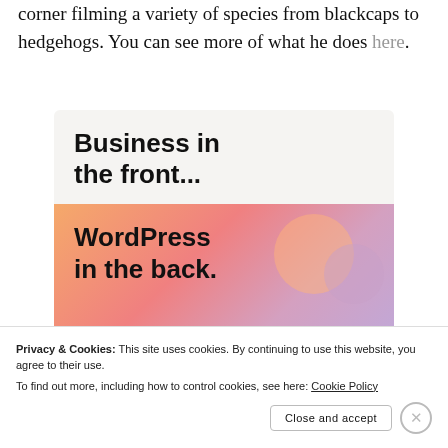corner filming a variety of species from blackcaps to hedgehogs. You can see more of what he does here.
[Figure (screenshot): Advertisement banner showing 'Business in the front... WordPress in the back.' with gradient orange/pink/purple background on the lower half]
Privacy & Cookies: This site uses cookies. By continuing to use this website, you agree to their use. To find out more, including how to control cookies, see here: Cookie Policy
Close and accept